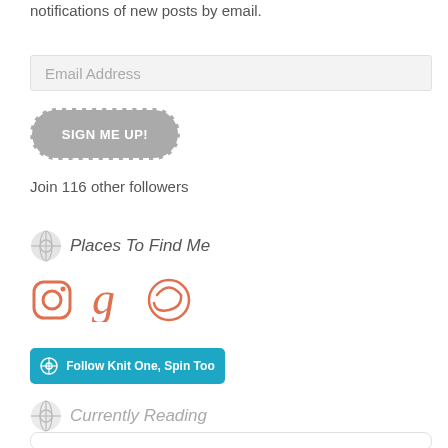notifications of new posts by email.
Email Address
SIGN ME UP!
Join 116 other followers
Places To Find Me
[Figure (logo): Social media icons: Instagram, Goodreads, and another circular icon in salmon/orange color]
[Figure (other): Follow Knit One, Spin Too button with WordPress icon on teal/cyan background]
Currently Reading
[Figure (other): Book card with thumbnail image, partially visible at bottom of page]